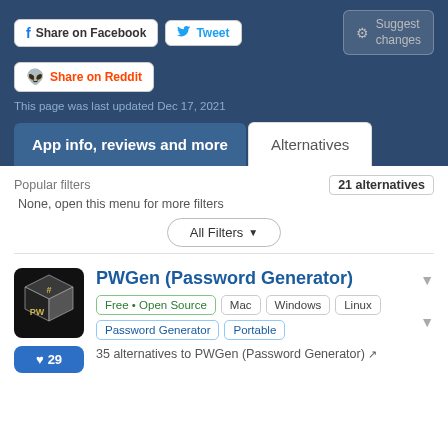Share on Facebook  Tweet  Share on Reddit  Suggest changes  This page was last updated Dec 17, 2021
App info, reviews and more
Alternatives
Popular filters
21 alternatives
None, open this menu for more filters
All Filters
PWGen (Password Generator)
Free • Open Source  Mac  Windows  Linux  Password Generator  Portable
35 alternatives to PWGen (Password Generator)